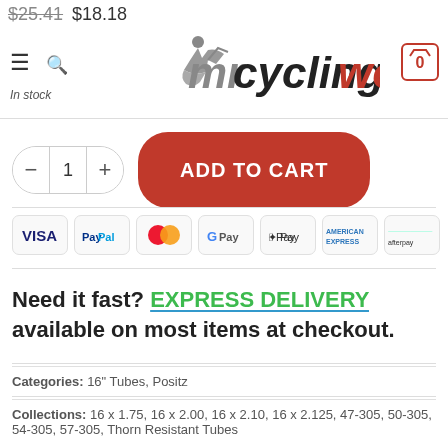[Figure (screenshot): mrcyclingworld logo with cyclist icon]
$25.41 $18.18
In stock
ADD TO CART
[Figure (infographic): Payment method icons: VISA, PayPal, Mastercard, G Pay, Apple Pay, American Express, Afterpay]
Need it fast? EXPRESS DELIVERY available on most items at checkout.
Categories: 16" Tubes, Positz
Collections: 16 x 1.75, 16 x 2.00, 16 x 2.10, 16 x 2.125, 47-305, 50-305, 54-305, 57-305, Thorn Resistant Tubes